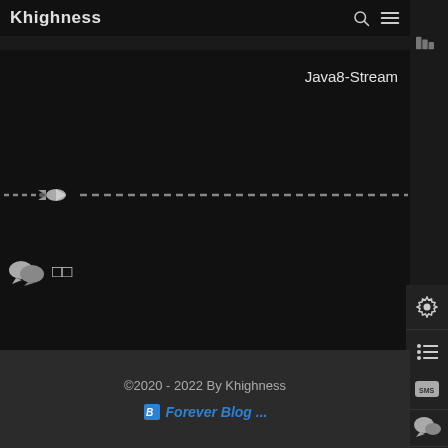Khighness
Java8-Stream
[Figure (illustration): Dashed horizontal line with a space shuttle icon near the left end, on black background]
□□
©2020 - 2022 By Khighness
Forever Blog ...